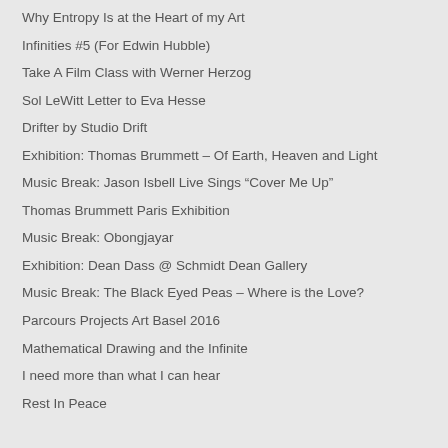Why Entropy Is at the Heart of my Art
Infinities #5 (For Edwin Hubble)
Take A Film Class with Werner Herzog
Sol LeWitt Letter to Eva Hesse
Drifter by Studio Drift
Exhibition: Thomas Brummett – Of Earth, Heaven and Light
Music Break: Jason Isbell Live Sings “Cover Me Up”
Thomas Brummett Paris Exhibition
Music Break: Obongjayar
Exhibition: Dean Dass @ Schmidt Dean Gallery
Music Break: The Black Eyed Peas – Where is the Love?
Parcours Projects Art Basel 2016
Mathematical Drawing and the Infinite
I need more than what I can hear
Rest In Peace